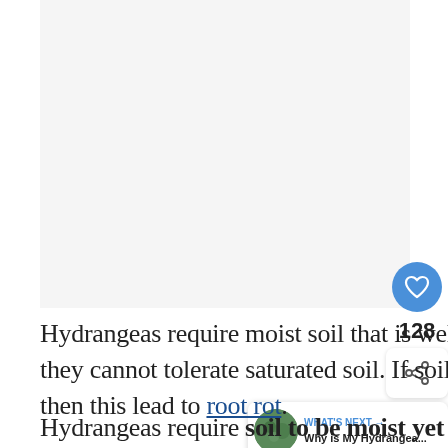[Figure (photo): Large image area placeholder (light gray background), partially visible at top of page]
Hydrangeas require moist soil that is well draining they cannot tolerate saturated soil. If soil is boggy then this lead to root rot.
Hydrangeas require soil to be moist yet well